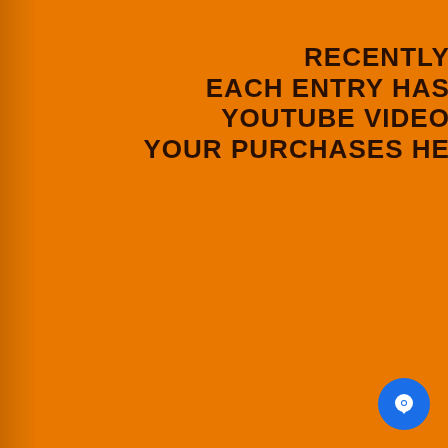RECENTLY
EACH ENTRY HAS
YOUTUBE VIDEO
YOUR PURCHASES HE
[Figure (illustration): Blue circular chat button icon with white speech bubble in bottom right corner]